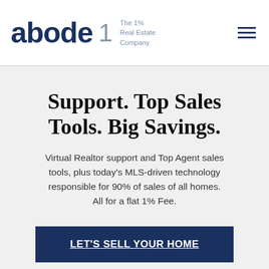abode1 The 1% Real Estate Company
Support. Top Sales Tools. Big Savings.
Virtual Realtor support and Top Agent sales tools, plus today's MLS-driven technology responsible for 90% of sales of all homes. All for a flat 1% Fee.
LET'S SELL YOUR HOME